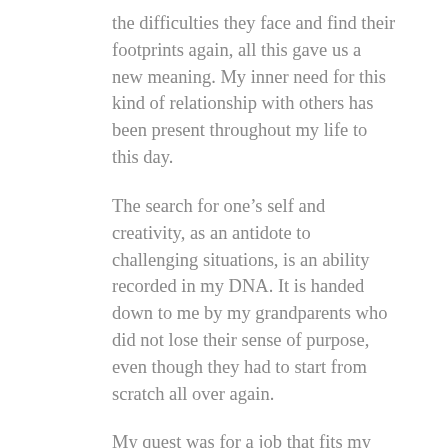the difficulties they face and find their footprints again, all this gave us a new meaning. My inner need for this kind of relationship with others has been present throughout my life to this day.
The search for one’s self and creativity, as an antidote to challenging situations, is an ability recorded in my DNA. It is handed down to me by my grandparents who did not lose their sense of purpose, even though they had to start from scratch all over again.
My quest was for a job that fits my daily routine with children responsibilities, distance working, and flexible schedule tailored to my needs. I am self-made and proud of that. I am not afraid of change; I never ever give up!
A knowledge that I bear from childhood.
In life we have the choice of either cross our arms